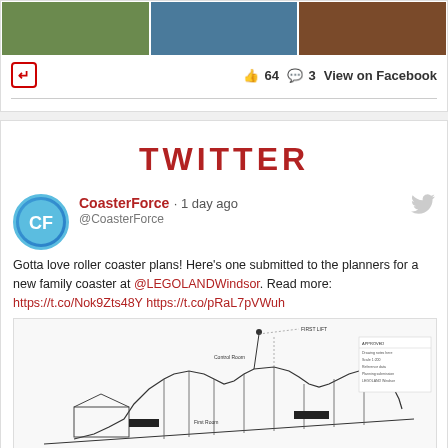[Figure (photo): Three photo thumbnails in a horizontal strip]
64  3  View on Facebook
TWITTER
CoasterForce · 1 day ago @CoasterForce
Gotta love roller coaster plans! Here's one submitted to the planners for a new family coaster at @LEGOLANDWindsor. Read more: https://t.co/Nok9Zts48Y https://t.co/pRaL7pVWuh
[Figure (engineering-diagram): Roller coaster engineering/planning blueprint showing side elevation of a family coaster structure with annotations and measurements]